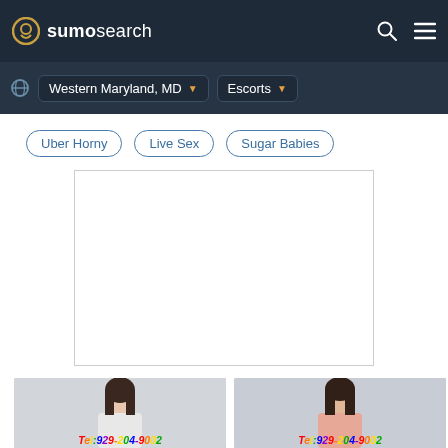sumosearch
Western Maryland, MD  Escorts
Uber Horny
Live Sex
Sugar Babies
[Figure (other): Advertisement placeholder box]
[Figure (photo): Young Asian woman in white shirt, Tel:929-204-9002]
[Figure (photo): Young Asian woman in pink top, Tel:929-204-9002]